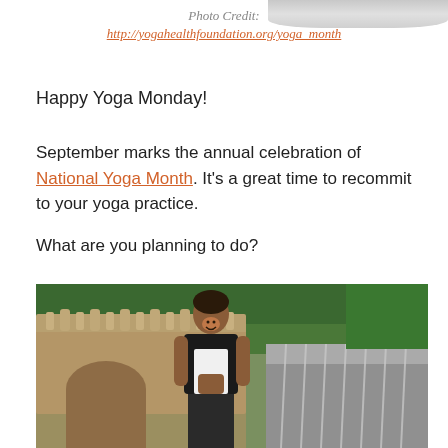Photo Credit:
http://yogahealthfoundation.org/yoga_month
Happy Yoga Monday!
September marks the annual celebration of National Yoga Month. It's a great time to recommit to your yoga practice.
What are you planning to do?
[Figure (photo): A woman in a yoga prayer pose standing in front of a stone arch wall with a waterfall feature and green trees in the background, in an outdoor garden or park setting.]